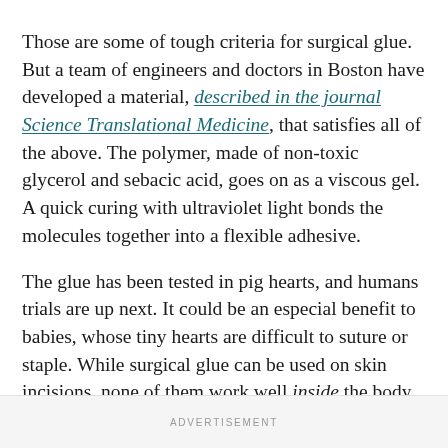Those are some of tough criteria for surgical glue. But a team of engineers and doctors in Boston have developed a material, described in the journal Science Translational Medicine, that satisfies all of the above. The polymer, made of non-toxic glycerol and sebacic acid, goes on as a viscous gel. A quick curing with ultraviolet light bonds the molecules together into a flexible adhesive.
The glue has been tested in pig hearts, and humans trials are up next. It could be an especial benefit to babies, whose tiny hearts are difficult to suture or staple. While surgical glue can be used on skin incisions, none of them work well inside the body because of toxicity or lack of flexibility.
ADVERTISEMENT